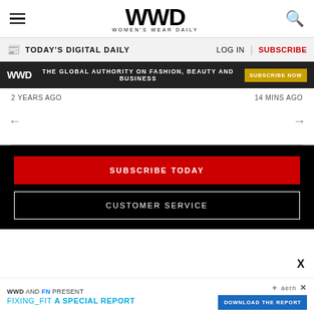WWD — Women's Wear Daily
TODAY'S DIGITAL DAILY   LOG IN   SUBSCRIBE
[Figure (screenshot): WWD ad banner: THE GLOBAL AUTHORITY ON FASHION, BEAUTY AND BUSINESS — SUBSCRIBE NOW button]
2 YEARS AGO   14 MINS AGO
← navigation arrow left   → navigation arrow right
SUBSCRIBE TODAY
CUSTOMER SERVICE
WWD AND FN PRESENT FIXING_FIT A SPECIAL REPORT — DOWNLOAD THE REPORT